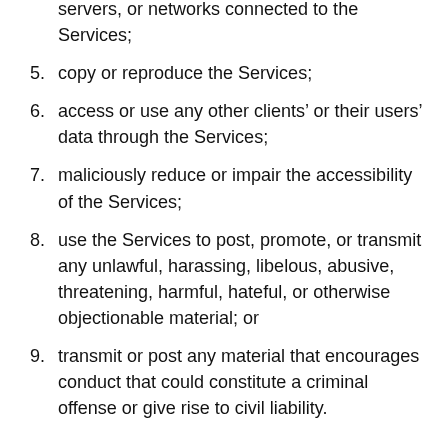servers, or networks connected to the Services;
5. copy or reproduce the Services;
6. access or use any other clients’ or their users’ data through the Services;
7. maliciously reduce or impair the accessibility of the Services;
8. use the Services to post, promote, or transmit any unlawful, harassing, libelous, abusive, threatening, harmful, hateful, or otherwise objectionable material; or
9. transmit or post any material that encourages conduct that could constitute a criminal offense or give rise to civil liability.